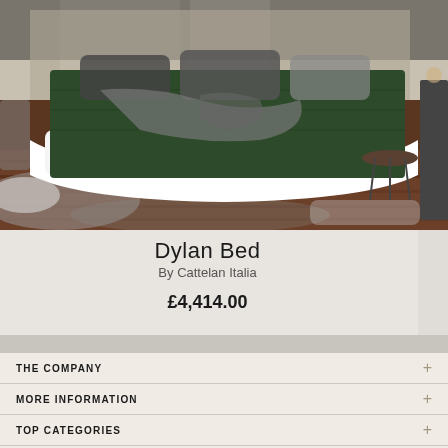[Figure (photo): A luxury Dylan Bed by Cattelan Italia — dark olive green upholstered bed with white curved frame, grey throws and pillows, displayed in a styled bedroom with a round side table, fur rug, and warm wooden flooring.]
Dylan Bed
By Cattelan Italia
£4,414.00
THE COMPANY
MORE INFORMATION
TOP CATEGORIES
CORPORATE ADDRESS